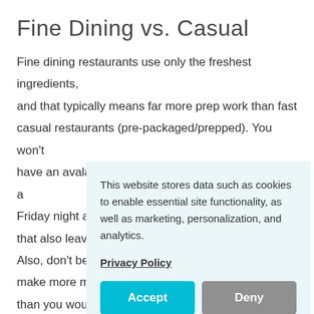Fine Dining vs. Casual
Fine dining restaurants use only the freshest ingredients, and that typically means far more prep work than fast casual restaurants (pre-packaged/prepped). You won't have an avalanche of orders like you might working a Friday night at [obscured] that also leave [obscured] Also, don't be [obscured] make more m[obscured] than you woul[obscured]
This website stores data such as cookies to enable essential site functionality, as well as marketing, personalization, and analytics.
Privacy Policy
Accept
Deny
Working as a c[obscured]
service or quick-serve establishments, comes with its own